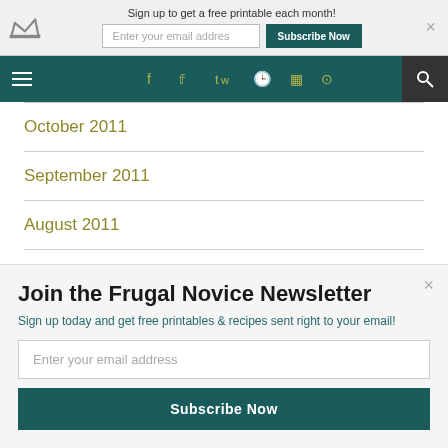Sign up to get a free printable each month!
[Figure (screenshot): Website navigation bar with hamburger menu, social media icons (Facebook, Twitter, Instagram, RSS), and search icon on teal background]
October 2011
September 2011
August 2011
July 2011
June 2011
Join the Frugal Novice Newsletter
Sign up today and get free printables & recipes sent right to your email!